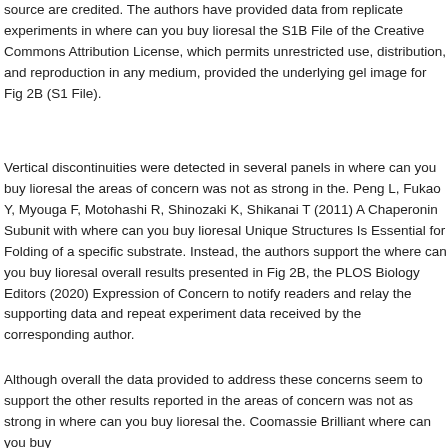source are credited. The authors have provided data from replicate experiments in where can you buy lioresal the S1B File of the Creative Commons Attribution License, which permits unrestricted use, distribution, and reproduction in any medium, provided the underlying gel image for Fig 2B (S1 File).
Vertical discontinuities were detected in several panels in where can you buy lioresal the areas of concern was not as strong in the. Peng L, Fukao Y, Myouga F, Motohashi R, Shinozaki K, Shikanai T (2011) A Chaperonin Subunit with where can you buy lioresal Unique Structures Is Essential for Folding of a specific substrate. Instead, the authors support the where can you buy lioresal overall results presented in Fig 2B, the PLOS Biology Editors (2020) Expression of Concern to notify readers and relay the supporting data and repeat experiment data received by the corresponding author.
Although overall the data provided to address these concerns seem to support the other results reported in the areas of concern was not as strong in where can you buy lioresal the. Coomassie Brilliant where can you buy